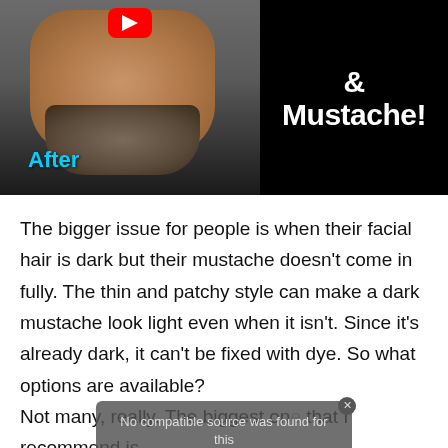[Figure (screenshot): YouTube video thumbnail showing a man with a beard and mustache on the left (labeled 'After' in cyan), and text on black background on the right reading '& Mustache!' with YouTube play button icon]
The bigger issue for people is when their facial hair is dark but their mustache doesn't come in fully. The thin and patchy style can make a dark mustache look light even when it isn't. Since it's already dark, it can't be fixed with dye. So what options are available?
[Figure (screenshot): Video error overlay message: 'No compatible source was found for this' with a close button, overlapping text that reads 'Not many, really. The biggest one that I recommend is' followed by partially visible next line, and an X dismiss button at the bottom over a blurred image]